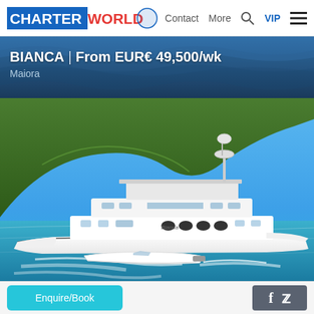CHARTERWORLD | Contact  More  VIP
BIANCA | From EUR€ 49,500/wk
Maiora
[Figure (photo): Luxury motor yacht BIANCA (Maiora) underway near green hillside, with tender boat alongside, in turquoise Caribbean waters]
Enquire/Book
[Figure (other): Social media icons: Facebook (f) and Twitter (bird/y)]